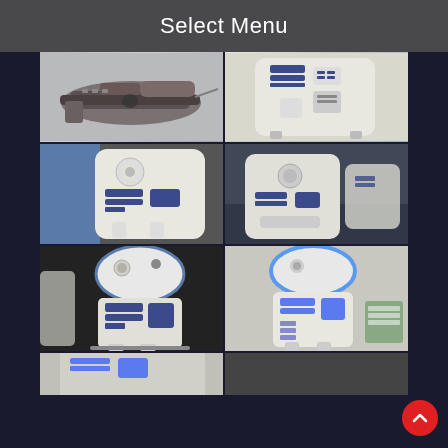Select Menu
[Figure (photo): Close-up photo of a sci-fi blaster/gun prop, metallic dark grey, on a light grey background]
[Figure (photo): Close-up of R2-D2 robot's upper body, white and blue panels, viewed from the side]
[Figure (photo): R2-D2 replica droid mid-section with blue and white panels, person in jeans visible behind it]
[Figure (photo): Multiple R2-D2 replica droids on a table at what appears to be a fan convention]
[Figure (photo): R2-D2 full replica droid, blue and white, on a dark background at a convention]
[Figure (photo): R2-D2 full replica droid standing upright, white and blue, front-facing view]
[Figure (photo): Partial view of R2-D2 replica droids at bottom of screen, partially cropped]